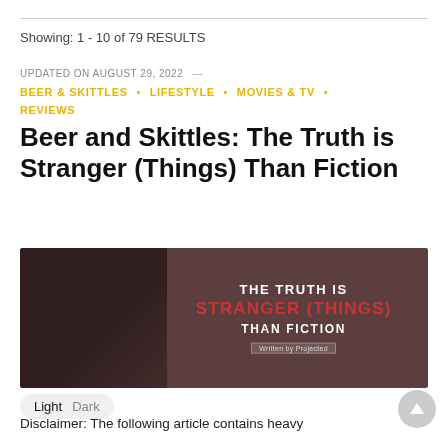Showing: 1 - 10 of 79 RESULTS
UPDATED ON AUGUST 29, 2022 —
BEER & SKITTLES • LIFESTYLE • MOVIES & TV • REVIEWS
Beer and Skittles: The Truth is Stranger (Things) Than Fiction
[Figure (illustration): Dark brown banner image with a silhouette figure on the left and bold text reading 'THE TRUTH IS STRANGER (THINGS) THAN FICTION' with a 'Written by Projected' credit line.]
Light  Dark
Disclaimer: The following article contains heavy